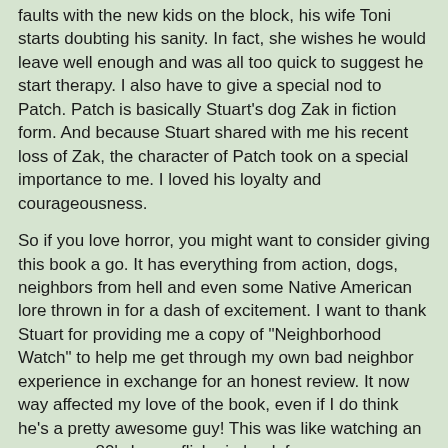faults with the new kids on the block, his wife Toni starts doubting his sanity. In fact, she wishes he would leave well enough and was all too quick to suggest he start therapy. I also have to give a special nod to Patch. Patch is basically Stuart's dog Zak in fiction form. And because Stuart shared with me his recent loss of Zak, the character of Patch took on a special importance to me. I loved his loyalty and courageousness.
So if you love horror, you might want to consider giving this book a go. It has everything from action, dogs, neighbors from hell and even some Native American lore thrown in for a dash of excitement. I want to thank Stuart for providing me a copy of "Neighborhood Watch" to help me get through my own bad neighbor experience in exchange for an honest review. It now way affected my love of the book, even if I do think he's a pretty awesome guy! This was like watching an awesome 80's horror flick - in book form.
RATING: 5 PAWS
[Figure (illustration): Five black paw print icons in a row representing a 5-paw rating]